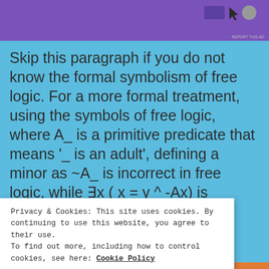[Figure (screenshot): Ad banner with purple background and icons including a cursor arrow and circular element]
Skip this paragraph if you do not know the formal symbolism of free logic. For a more formal treatment, using the symbols of free logic, where A_ is a primitive predicate that means '_ is an adult', defining a minor as ~A_ is incorrect in free logic, while ∃x ( x = y ^ -Ax) is correct. With this, a sentence that expresses...
Privacy & Cookies: This site uses cookies. By continuing to use this website, you agree to their use.
To find out more, including how to control cookies, see here: Cookie Policy
Close and accept